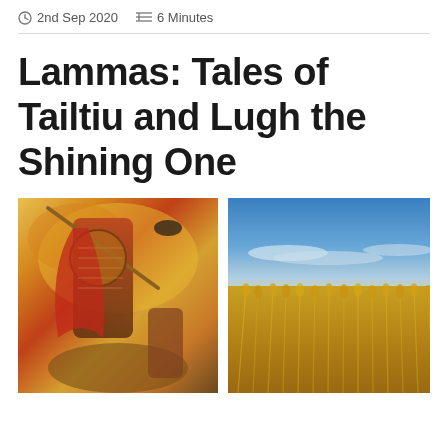2nd Sep 2020   6 Minutes
Lammas: Tales of Tailtiu and Lugh the Shining One
[Figure (photo): Left: medieval fantasy battle painting showing a warrior in armor with red cloak wielding a spear, ravens, and other figures in a dramatic style. Right: golden wheat field under a blue sky with wispy clouds.]